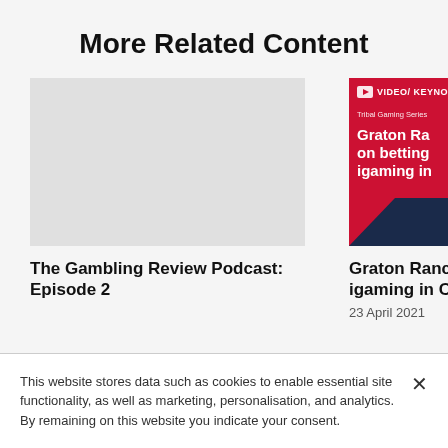More Related Content
[Figure (screenshot): Light gray placeholder thumbnail for The Gambling Review Podcast: Episode 2]
[Figure (screenshot): Red and navy video thumbnail for Graton Rancheria keynote on betting and igaming in CA, with VIDEO/KEYNOTE badge, Tribal Gaming Series label, and title text partially visible]
The Gambling Review Podcast: Episode 2
Graton Ranch igaming in Ca
23 April 2021
This website stores data such as cookies to enable essential site functionality, as well as marketing, personalisation, and analytics. By remaining on this website you indicate your consent.